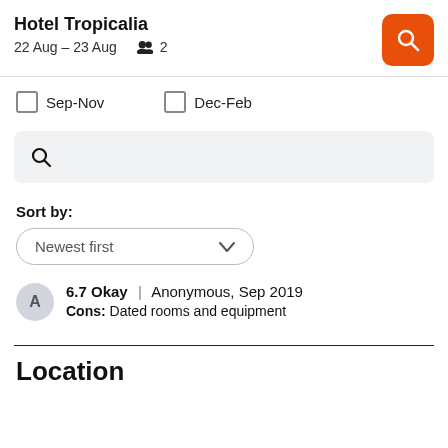Hotel Tropicalia
22 Aug – 23 Aug  2
Sep-Nov
Dec-Feb
[Figure (screenshot): Search bar with magnifying glass icon on light grey background]
Sort by:
Newest first
6.7 Okay | Anonymous, Sep 2019
Cons: Dated rooms and equipment
Location